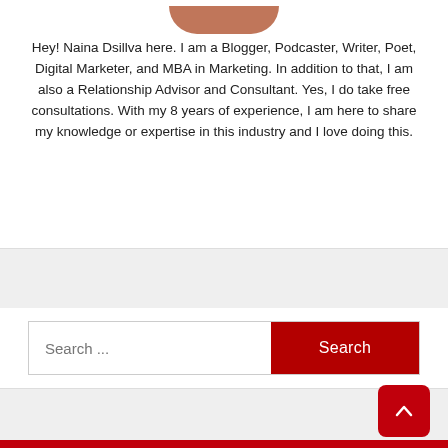[Figure (photo): Cropped bottom of a person's profile photo showing head/shoulders, partially visible at top of page]
Hey! Naina Dsillva here. I am a Blogger, Podcaster, Writer, Poet, Digital Marketer, and MBA in Marketing. In addition to that, I am also a Relationship Advisor and Consultant. Yes, I do take free consultations. With my 8 years of experience, I am here to share my knowledge or expertise in this industry and I love doing this.
[Figure (screenshot): Search bar with placeholder text 'Search ...' and a red 'Search' button on the right]
[Figure (other): Red scroll-to-top button with upward arrow icon in bottom right corner]